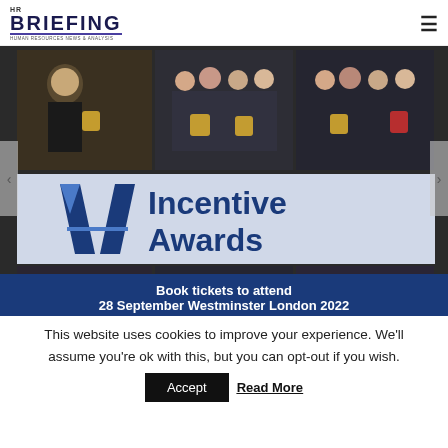HR BRIEFING — HUMAN RESOURCES NEWS & ANALYSIS
[Figure (photo): Incentive Awards promotional banner showing event photos of award winners and the text 'Incentive Awards — Book tickets to attend 28 September Westminster London 2022']
This website uses cookies to improve your experience. We'll assume you're ok with this, but you can opt-out if you wish.
Accept   Read More